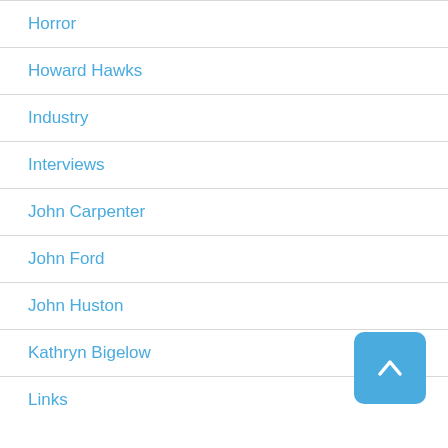Horror
Howard Hawks
Industry
Interviews
John Carpenter
John Ford
John Huston
Kathryn Bigelow
Links